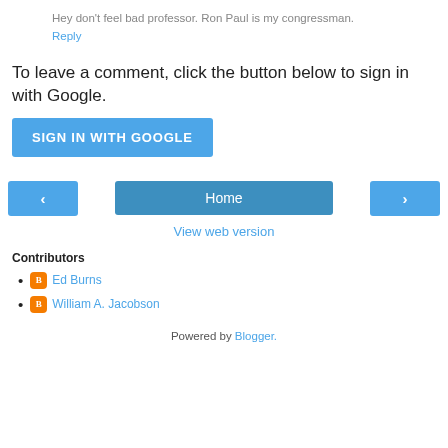Hey don't feel bad professor. Ron Paul is my congressman.
Reply
To leave a comment, click the button below to sign in with Google.
SIGN IN WITH GOOGLE
[Figure (other): Navigation row with left arrow button, Home button, and right arrow button]
View web version
Contributors
Ed Burns
William A. Jacobson
Powered by Blogger.